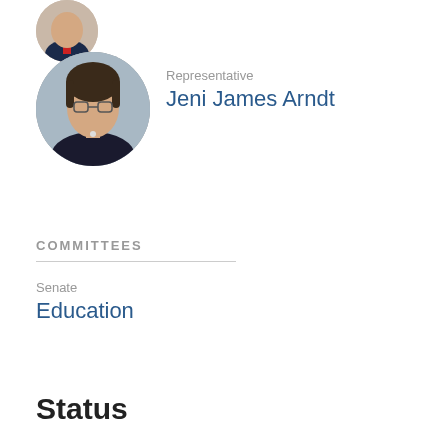[Figure (photo): Partial circular photo at top, cropped — appears to show a person with flag background]
[Figure (photo): Circular portrait photo of Representative Jeni James Arndt, a woman with glasses wearing a dark blazer]
Representative
Jeni James Arndt
COMMITTEES
Senate
Education
Status